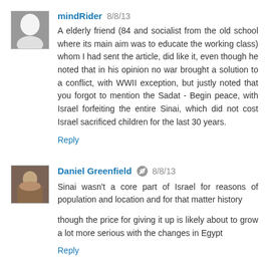mindRider 8/8/13
A elderly friend (84 and socialist from the old school where its main aim was to educate the working class) whom I had sent the article, did like it, even though he noted that in his opinion no war brought a solution to a conflict, with WWII exception, but justly noted that you forgot to mention the Sadat - Begin peace, with Israel forfeiting the entire Sinai, which did not cost Israel sacrificed children for the last 30 years.
Reply
Daniel Greenfield 8/8/13
Sinai wasn't a core part of Israel for reasons of population and location and for that matter history
though the price for giving it up is likely about to grow a lot more serious with the changes in Egypt
Reply